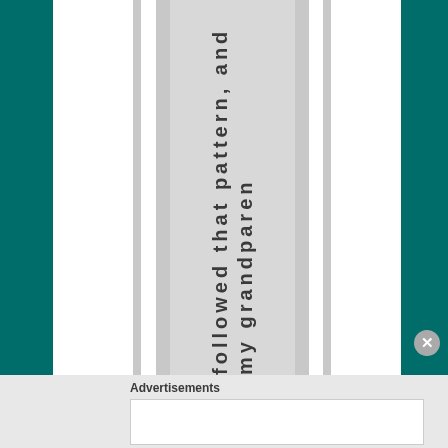[Figure (screenshot): A webpage screenshot showing a multi-column layout with teal background sidebars and a central light gray column containing vertically-written text reading 'followed that pattern, and my grandparent'. Below is a gray bar with Advertisements label and a white ad box with a close (X) button.]
followed that pattern, and my grandparen
Advertisements